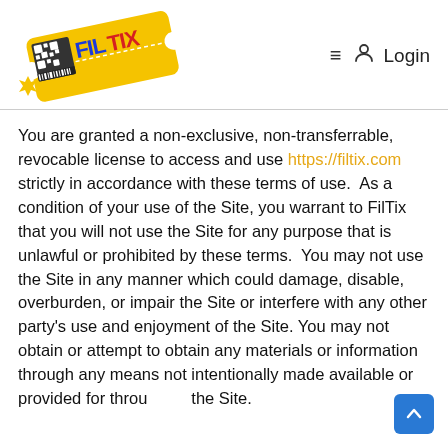[Figure (logo): FilTix logo — yellow ticket shape with QR code pattern, text 'FIL' in blue and 'TIX' in red on the ticket]
≡ 👤 Login
You are granted a non-exclusive, non-transferrable, revocable license to access and use https://filtix.com strictly in accordance with these terms of use.  As a condition of your use of the Site, you warrant to FilTix that you will not use the Site for any purpose that is unlawful or prohibited by these terms.  You may not use the Site in any manner which could damage, disable, overburden, or impair the Site or interfere with any other party's use and enjoyment of the Site. You may not obtain or attempt to obtain any materials or information through any means not intentionally made available or provided for through the Site.